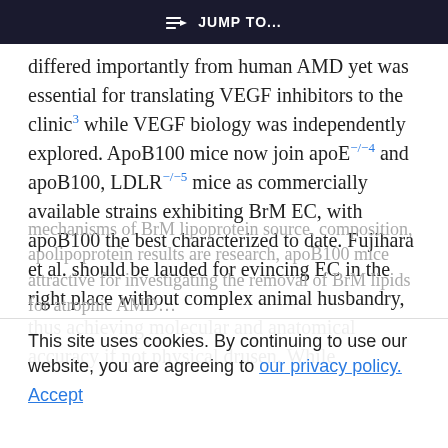JUMP TO...
differed importantly from human AMD yet was essential for translating VEGF inhibitors to the clinic³ while VEGF biology was independently explored. ApoB100 mice now join apoE⁻/⁻⁴ and apoB100, LDLR⁻/⁻⁵ mice as commercially available strains exhibiting BrM EC, with apoB100 the best characterized to date. Fujihara et al. should be lauded for evincing EC in the right place without complex animal husbandry, thus achieving molecular and anatomical accuracy if not physical drusen. While
This site uses cookies. By continuing to use our website, you are agreeing to our privacy policy. Accept